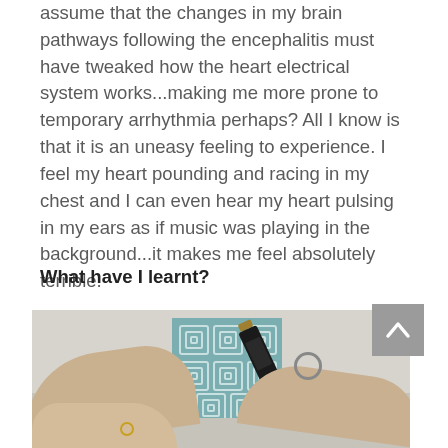assume that the changes in my brain pathways following the encephalitis must have tweaked how the heart electrical system works...making me more prone to temporary arrhythmia perhaps? All I know is that it is an uneasy feeling to experience. I feel my heart pounding and racing in my chest and I can even hear my heart pulsing in my ears as if music was playing in the background...it makes me feel absolutely terrible.
What have I learnt?
[Figure (photo): A person's arm resting near a wine bottle being held by another hand, with a grey sofa and a teal geometric patterned pillow in the background. A scroll-to-top button (grey arrow) overlaps the top-right corner.]